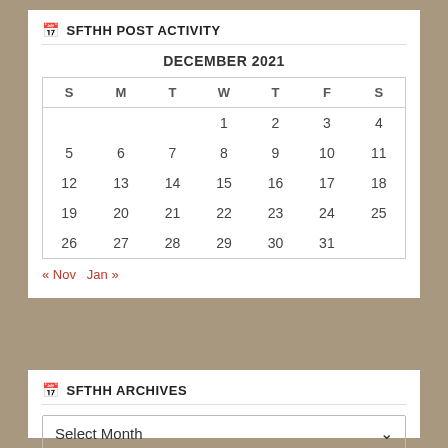SFTHH POST ACTIVITY
| S | M | T | W | T | F | S |
| --- | --- | --- | --- | --- | --- | --- |
|  |  |  | 1 | 2 | 3 | 4 |
| 5 | 6 | 7 | 8 | 9 | 10 | 11 |
| 12 | 13 | 14 | 15 | 16 | 17 | 18 |
| 19 | 20 | 21 | 22 | 23 | 24 | 25 |
| 26 | 27 | 28 | 29 | 30 | 31 |  |
« Nov   Jan »
SFTHH ARCHIVES
Select Month